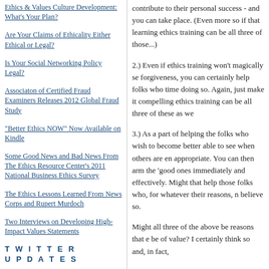Ethics & Values Culture Development: What's Your Plan?
Are Your Claims of Ethicality Either Ethical or Legal?
Is Your Social Networking Policy Legal?
Associaton of Certified Fraud Examiners Releases 2012 Global Fraud Study
"Better Ethics NOW" Now Available on Kindle
Some Good News and Bad News From The Ethics Resource Center's 2011 National Business Ethics Survey
The Ethics Lessons Learned From News Corps and Rupert Murdoch
Two Interviews on Developing High-Impact Values Statements
TWITTER UPDATES
follow me on Twitter
contribute to their personal success - and you can take place. (Even more so if that learning ethics training can be all three of those...)
2.) Even if ethics training won't magically se forgiveness, you can certainly help folks who time doing so. Again, just make it compelling ethics training can be all three of these as we
3.) As a part of helping the folks who wish to become better able to see when others are en appropriate. You can then arm the 'good ones immediately and effectively. Might that help those folks who, for whatever their reasons, n believe so.
Might all three of the above be reasons that e be of value? I certainly think so and, in fact,
Posted at 12:46 PM in Ethics Commentary, Ethics Tr